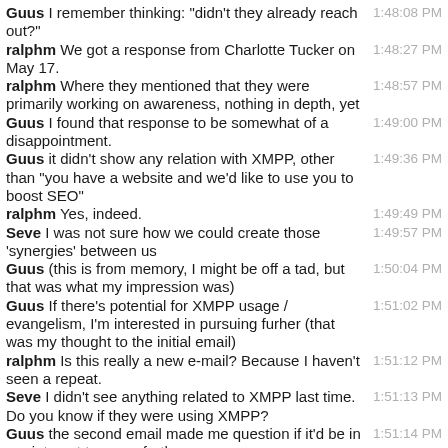Guus I remember thinking: "didn't they already reach out?" 1:48:08 PM
ralphm We got a response from Charlotte Tucker on May 17. 1:48:27 PM
ralphm Where they mentioned that they were primarily working on awareness, nothing in depth, yet 1:48:57 PM
Guus I found that response to be somewhat of a disappointment. 1:49:00 PM
Guus it didn't show any relation with XMPP, other than "you have a website and we'd like to use you to boost SEO" 1:49:36 PM
ralphm Yes, indeed. 1:49:49 PM
Seve I was not sure how we could create those 'synergies' between us 1:49:57 PM
Guus (this is from memory, I might be off a tad, but that was what my impression was) 1:50:04 PM
Guus If there's potential for XMPP usage / evangelism, I'm interested in pursuing furher (that was my thought to the initial email) 1:51:02 PM
ralphm Is this really a new e-mail? Because I haven't seen a repeat. 1:51:12 PM
Seve I didn't see anything related to XMPP last time. Do you know if they were using XMPP? 1:51:13 PM
Guus the second email made me question if it'd be in our interest to move further. 1:51:14 PM